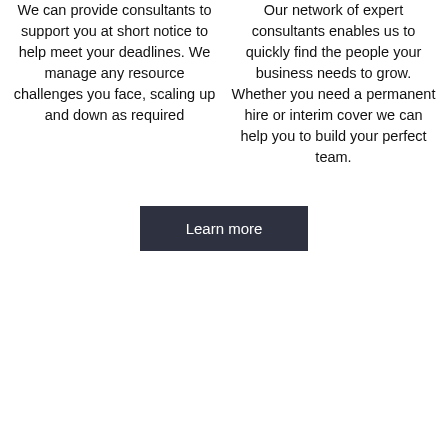We can provide consultants to support you at short notice to help meet your deadlines. We manage any resource challenges you face, scaling up and down as required
Our network of expert consultants enables us to quickly find the people your business needs to grow. Whether you need a permanent hire or interim cover we can help you to build your perfect team.
Learn more